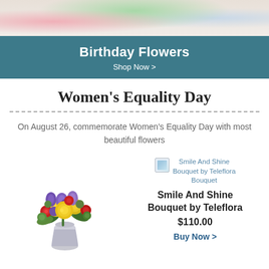[Figure (photo): Banner image showing hands with macarons, flowers in vase, and decorative items on a table]
Birthday Flowers
Shop Now >
Women's Equality Day
On August 26, commemorate Women's Equality Day with most beautiful flowers
[Figure (photo): Colorful flower bouquet in a silver vase featuring yellow roses, purple alstroemeria, red flowers, and green accents]
[Figure (photo): Small thumbnail image of Smile And Shine Bouquet by Teleflora]
Smile And Shine Bouquet by Teleflora
Smile And Shine Bouquet by Teleflora
$110.00
Buy Now >